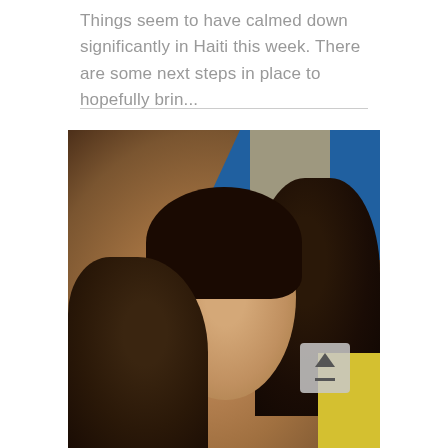Things seem to have calmed down significantly in Haiti this week. There are some next steps in place to hopefully brin...
[Figure (photo): A selfie-style photo of four people including a smiling woman with dark hair and bangs, a young child in the foreground lower left, and two other individuals, taken in front of a blue structure.]